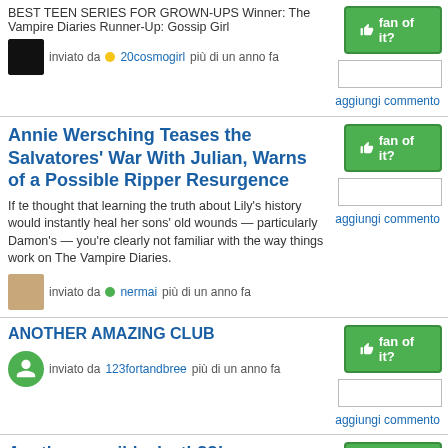BEST TEEN SERIES FOR GROWN-UPS Winner: The Vampire Diaries Runner-Up: Gossip Girl
inviato da 20cosmogirl più di un anno fa
Annie Wersching Teases the Salvatores' War With Julian, Warns of a Possible Ripper Resurgence
If te thought that learning the truth about Lily's history would instantly heal her sons' old wounds — particularly Damon's — you're clearly not familiar with the way things work on The Vampire Diaries.
inviato da nermai più di un anno fa
ANOTHER AMAZING CLUB
inviato da 123fortandbree più di un anno fa
Another possible death??!
inviato da Sarah2393 più di un anno fa
April Young fanpop
Please Become a fan, thank te :-)